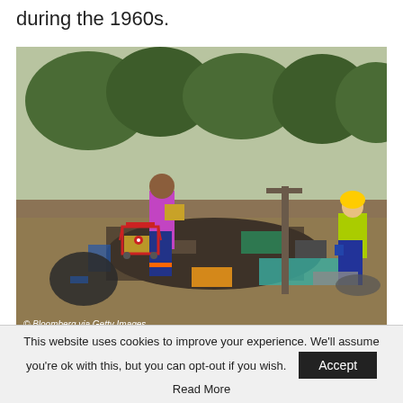during the 1960s.
[Figure (photo): A scene of a homeless encampment being cleared. A person in colorful clothing stands amid piles of debris and belongings near a red Target shopping cart. In the background, a worker in a yellow safety vest and hard hat works among the clutter. Trees are visible in the background. Photo credit: Bloomberg via Getty Images.]
UC Berkeley Chancellor Carol Christ said the
This website uses cookies to improve your experience. We'll assume you're ok with this, but you can opt-out if you wish. Accept Read More